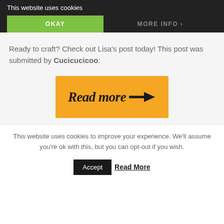This website uses cookies
OKAY
MORE INFO
Ready to craft? Check out Lisa's post today! This post was submitted by Cucicucicoo:
[Figure (illustration): Orange button with cursive text 'Read more' and a right-pointing arrow]
This website uses cookies to improve your experience. We'll assume you're ok with this, but you can opt-out if you wish.
Accept
Read More